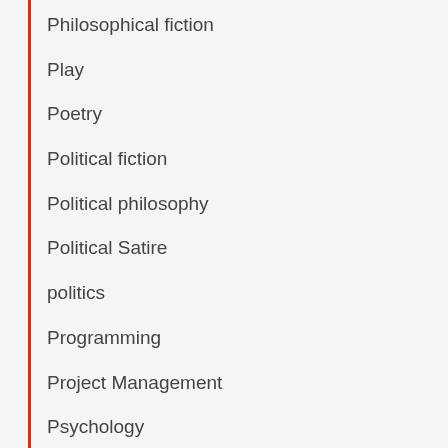Philosophical fiction
Play
Poetry
Political fiction
Political philosophy
Political Satire
politics
Programming
Project Management
Psychology
Python